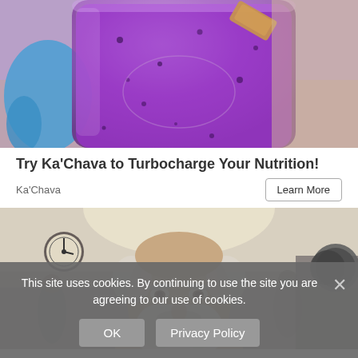[Figure (photo): Close-up photo of a purple/violet smoothie in a mason jar, held by a hand wearing blue glove. A peanut butter cookie or cracker rests on the rim of the jar.]
Try Ka'Chava to Turbocharge Your Nutrition!
Ka'Chava
[Figure (photo): Photo of an elderly man with white beard in a gym setting, surrounded by exercise equipment and other gym-goers in the background.]
This site uses cookies. By continuing to use the site you are agreeing to our use of cookies.